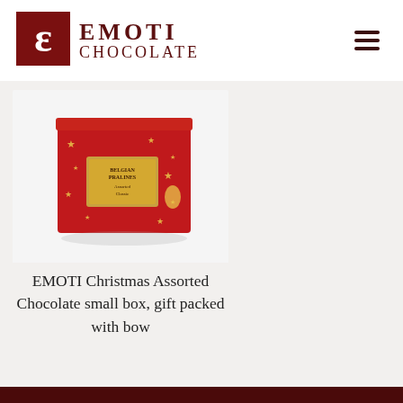[Figure (logo): Emoti Chocolate logo with stylized 'e' icon and text 'EMOTI CHOCOLATE' in dark red]
[Figure (photo): Red Christmas chocolate gift box with gold stars decoration and golden label reading 'Belgian Pralines Assorted Classic', shadow on white background]
EMOTI Christmas Assorted Chocolate small box, gift packed with bow